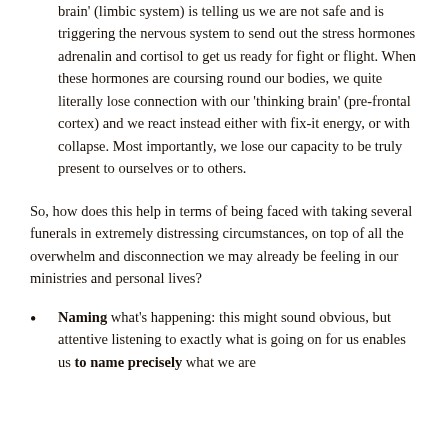brain' (limbic system) is telling us we are not safe and is triggering the nervous system to send out the stress hormones adrenalin and cortisol to get us ready for fight or flight. When these hormones are coursing round our bodies, we quite literally lose connection with our 'thinking brain' (pre-frontal cortex) and we react instead either with fix-it energy, or with collapse. Most importantly, we lose our capacity to be truly present to ourselves or to others.
So, how does this help in terms of being faced with taking several funerals in extremely distressing circumstances, on top of all the overwhelm and disconnection we may already be feeling in our ministries and personal lives?
Naming what's happening: this might sound obvious, but attentive listening to exactly what is going on for us enables us to name precisely what we are ...